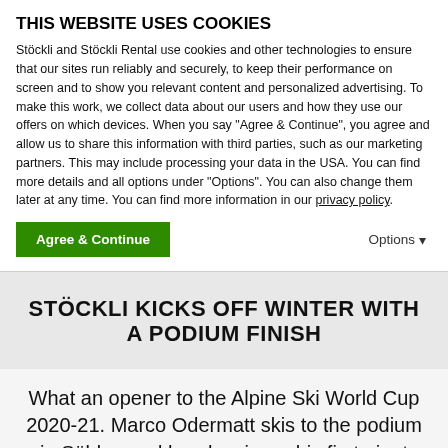THIS WEBSITE USES COOKIES
Stöckli and Stöckli Rental use cookies and other technologies to ensure that our sites run reliably and securely, to keep their performance on screen and to show you relevant content and personalized advertising. To make this work, we collect data about our users and how they use our offers on which devices. When you say "Agree & Continue", you agree and allow us to share this information with third parties, such as our marketing partners. This may include processing your data in the USA. You can find more details and all options under "Options". You can also change them later at any time. You can find more information in our privacy policy.
Agree & Continue   Options
STÖCKLI KICKS OFF WINTER WITH A PODIUM FINISH
What an opener to the Alpine Ski World Cup 2020-21. Marco Odermatt skis to the podium in Sölden and barely misses his first giant slalom World Cup win. Andrea Ellenberger repeats her best World Cup finish to date with